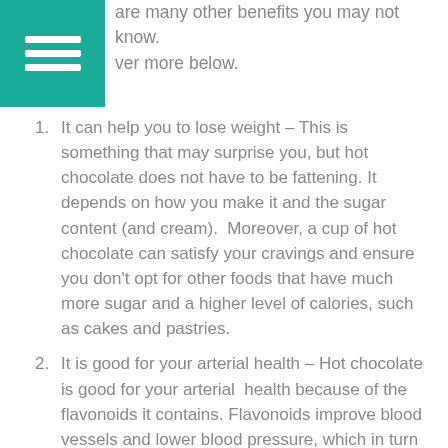are many other benefits you may not know. ver more below.
It can help you to lose weight – This is something that may surprise you, but hot chocolate does not have to be fattening. It depends on how you make it and the sugar content (and cream).  Moreover, a cup of hot chocolate can satisfy your cravings and ensure you don't opt for other foods that have much more sugar and a higher level of calories, such as cakes and pastries.
It is good for your arterial health – Hot chocolate is good for your arterial  health because of the flavonoids it contains. Flavonoids improve blood vessels and lower blood pressure, which in turn reduces the risk of heart disease.
It boosts your mood – Hot chocolate is well known to boost mood. This is because it stimulates a